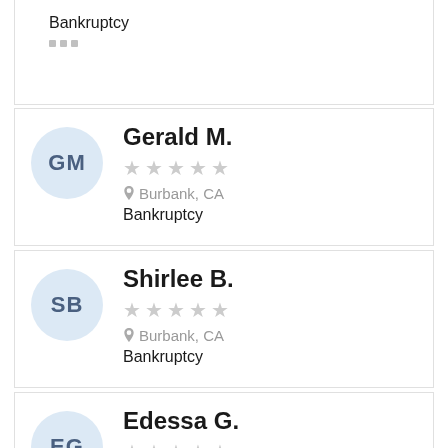Bankruptcy
...
Gerald M.
★★★★★
Burbank, CA
Bankruptcy
Shirlee B.
★★★★★
Burbank, CA
Bankruptcy
Edessa G.
★★★★★
Burbank, CA
Bankruptcy